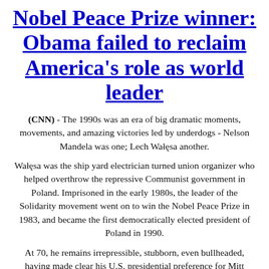Nobel Peace Prize winner: Obama failed to reclaim America's role as world leader
(CNN) - The 1990s was an era of big dramatic moments, movements, and amazing victories led by underdogs - Nelson Mandela was one; Lech Wałęsa another.
Wałęsa was the ship yard electrician turned union organizer who helped overthrow the repressive Communist government in Poland. Imprisoned in the early 1980s, the leader of the Solidarity movement went on to win the Nobel Peace Prize in 1983, and became the first democratically elected president of Poland in 1990.
At 70, he remains irrepressible, stubborn, even bullheaded, having made clear his U.S. presidential preference for Mitt Romney during the 2012 election.
The old cold warrior is a strong critic of President Barack Obama.